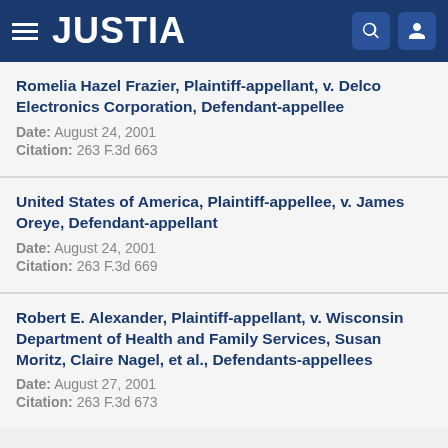JUSTIA
Romelia Hazel Frazier, Plaintiff-appellant, v. Delco Electronics Corporation, Defendant-appellee
Date: August 24, 2001
Citation: 263 F.3d 663
United States of America, Plaintiff-appellee, v. James Oreye, Defendant-appellant
Date: August 24, 2001
Citation: 263 F.3d 669
Robert E. Alexander, Plaintiff-appellant, v. Wisconsin Department of Health and Family Services, Susan Moritz, Claire Nagel, et al., Defendants-appellees
Date: August 27, 2001
Citation: 263 F.3d 673